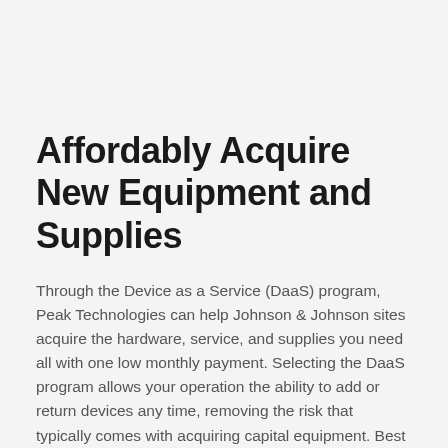Affordably Acquire New Equipment and Supplies
Through the Device as a Service (DaaS) program, Peak Technologies can help Johnson & Johnson sites acquire the hardware, service, and supplies you need all with one low monthly payment. Selecting the DaaS program allows your operation the ability to add or return devices any time, removing the risk that typically comes with acquiring capital equipment. Best of all, you'll benefit from support and service from the nation's leader in maintenance service.